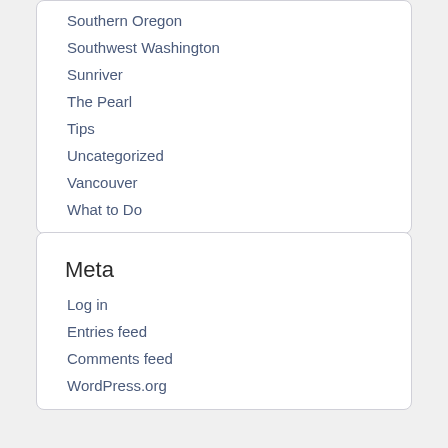Southern Oregon
Southwest Washington
Sunriver
The Pearl
Tips
Uncategorized
Vancouver
What to Do
Meta
Log in
Entries feed
Comments feed
WordPress.org